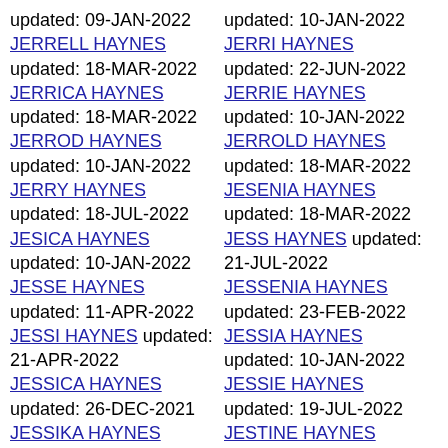updated: 09-JAN-2022
JERRELL HAYNES
updated: 10-JAN-2022
JERRI HAYNES
updated: 18-MAR-2022
JERRICA HAYNES
updated: 22-JUN-2022
JERRIE HAYNES
updated: 18-MAR-2022
JERROD HAYNES
updated: 10-JAN-2022
JERROLD HAYNES
updated: 10-JAN-2022
JERRY HAYNES
updated: 18-MAR-2022
JESENIA HAYNES
updated: 18-JUL-2022
JESICA HAYNES
JESS HAYNES updated: 21-JUL-2022
updated: 10-JAN-2022
JESSE HAYNES
updated: 23-FEB-2022
JESSENIA HAYNES
updated: 11-APR-2022
JESSI HAYNES updated: 21-APR-2022
updated: 10-JAN-2022
JESSIA HAYNES
updated: 26-DEC-2021
JESSICA HAYNES
updated: 19-JUL-2022
JESSIE HAYNES
updated: 18-MAR-2022
JESSIKA HAYNES
updated: 18-MAR-2022
JESTINE HAYNES
updated: 18-MAR-2022
JESUS HAYNES
updated: 18-MAR-2022
JESUA HAYNES